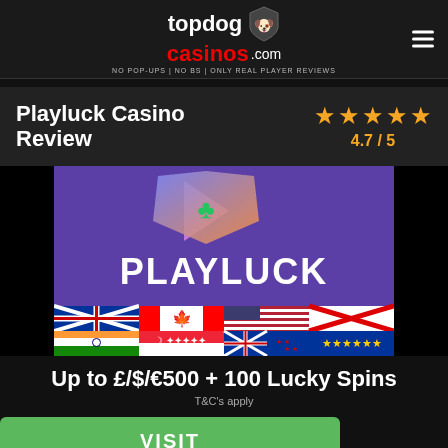topdog casinos .com NO POP-UPS | NO BS | ONLY REAL PLAYER REVIEWS
Playluck Casino Review 4.7 / 5
[Figure (logo): Playluck Casino logo with purple background, play button icon with clover, text PLAYLUCK, and 8 country flags below]
Up to £/$/€500 + 100 Lucky Spins
T&C's apply
VISIT